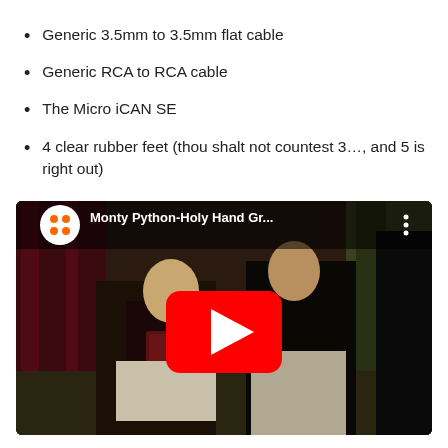Generic 3.5mm to 3.5mm flat cable
Generic RCA to RCA cable
The Micro iCAN SE
4 clear rubber feet (thou shalt not countest 3…, and 5 is right out)
[Figure (screenshot): YouTube video embed showing Monty Python-Holy Hand Gr... with play button overlay, showing two figures in medieval/monk clothing]
The Micro series has two camps on portability,